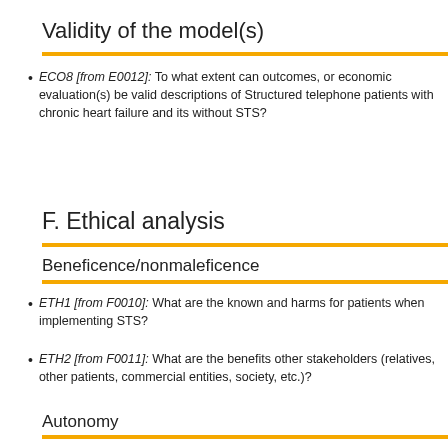Validity of the model(s)
ECO8 [from E0012]: To what extent can outcomes, or economic evaluation(s) be valid descriptions of Structured telephone patients with chronic heart failure and its without STS?
F. Ethical analysis
Beneficence/nonmaleficence
ETH1 [from F0010]: What are the known and harms for patients when implementing STS?
ETH2 [from F0011]: What are the benefits other stakeholders (relatives, other patients, commercial entities, society, etc.)?
Autonomy